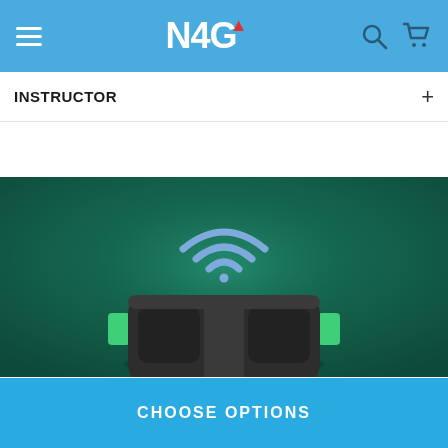N4G
INSTRUCTOR
[Figure (illustration): A VR headset device with green side buttons on a dark teal/green gradient background, with a blue WiFi signal icon above it, suggesting wireless connectivity.]
CHOOSE OPTIONS